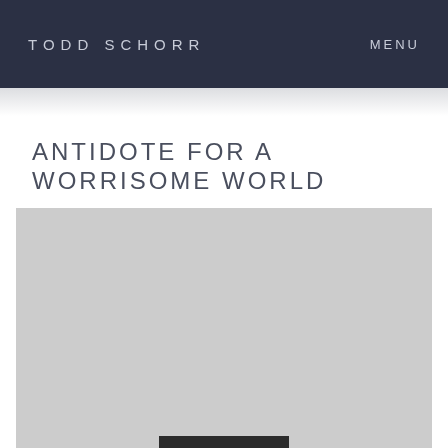TODD SCHORR   MENU
ANTIDOTE FOR A WORRISOME WORLD
[Figure (photo): Large placeholder image area in light gray with a dark bar element near the bottom center]